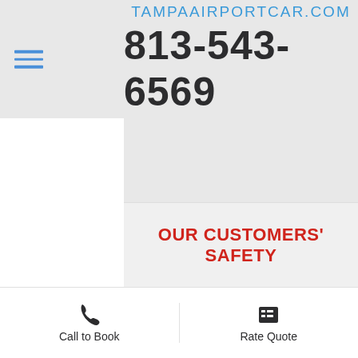TampaAirportCar.com  813-543-6569
OUR CUSTOMERS' SAFETY
Call to Book
Rate Quote